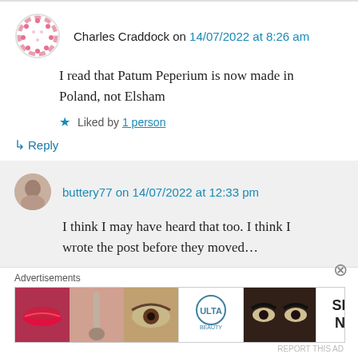Charles Craddock on 14/07/2022 at 8:26 am
I read that Patum Peperium is now made in Poland, not Elsham
★ Liked by 1 person
↳ Reply
buttery77 on 14/07/2022 at 12:33 pm
I think I may have heard that too. I think I wrote the post before they moved…
Advertisements